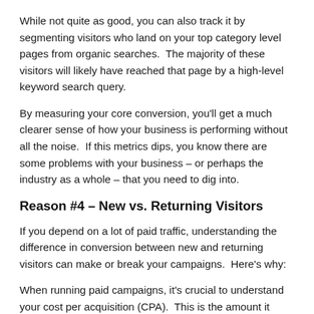While not quite as good, you can also track it by segmenting visitors who land on your top category level pages from organic searches.  The majority of these visitors will likely have reached that page by a high-level keyword search query.
By measuring your core conversion, you'll get a much clearer sense of how your business is performing without all the noise.  If this metrics dips, you know there are some problems with your business – or perhaps the industry as a whole – that you need to dig into.
Reason #4 – New vs. Returning Visitors
If you depend on a lot of paid traffic, understanding the difference in conversion between new and returning visitors can make or break your campaigns.  Here's why:
When running paid campaigns, it's crucial to understand your cost per acquisition (CPA).  This is the amount it costs you to acquire a customer.